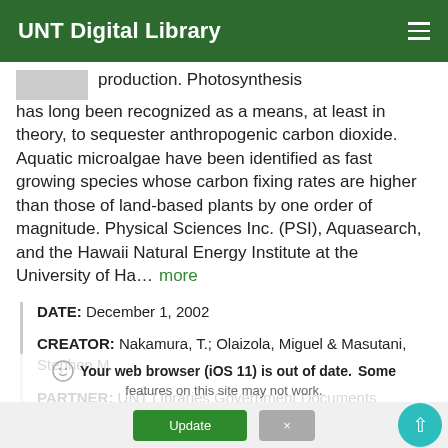UNT Digital Library
production. Photosynthesis has long been recognized as a means, at least in theory, to sequester anthropogenic carbon dioxide. Aquatic microalgae have been identified as fast growing species whose carbon fixing rates are higher than those of land-based plants by one order of magnitude. Physical Sciences Inc. (PSI), Aquasearch, and the Hawaii Natural Energy Institute at the University of Ha… more
DATE: December 1, 2002
CREATOR: Nakamura, T.; Olaizola, Miguel & Masutani, Stephen M.
PARTNER: UNT Libraries Government Documents Department.
Your web browser (iOS 11) is out of date. Some features on this site may not work.